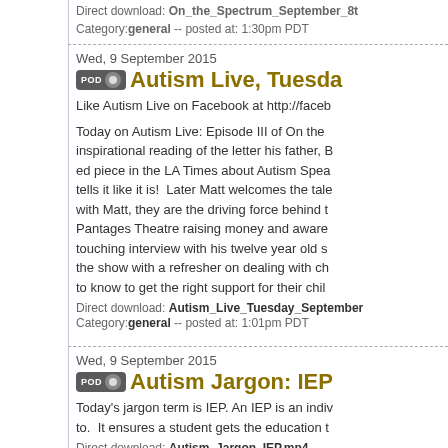Direct download: On_the_Spectrum_September_8th...
Category: general -- posted at: 1:30pm PDT
Wed, 9 September 2015
Autism Live, Tuesda...
Like Autism Live on Facebook at http://faceb...
Today on Autism Live: Episode III of On the ... inspirational reading of the letter his father, B... ed piece in the LA Times about Autism Spea... tells it like it is! Later Matt welcomes the tale... with Matt, they are the driving force behind t... Pantages Theatre raising money and aware... touching interview with his twelve year old s... the show with a refresher on dealing with ch... to know to get the right support for their chil...
Direct download: Autism_Live_Tuesday_September...
Category: general -- posted at: 1:01pm PDT
Wed, 9 September 2015
Autism Jargon: IEP
Today's jargon term is IEP. An IEP is an indiv... to. It ensures a student gets the education t...
Direct download: Autism_Jargon_IEP.mp4
Category: general -- posted at: 12:33pm PDT
Wed, 9 September 2015